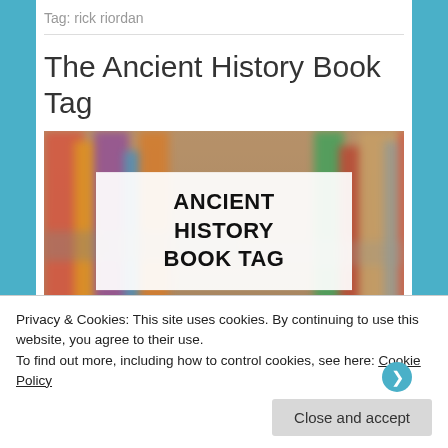Tag: rick riordan
The Ancient History Book Tag
[Figure (photo): Blurry bookshelf background image with a white overlay box containing bold uppercase text 'ANCIENT HISTORY BOOK TAG']
Privacy & Cookies: This site uses cookies. By continuing to use this website, you agree to their use.
To find out more, including how to control cookies, see here: Cookie Policy
Close and accept